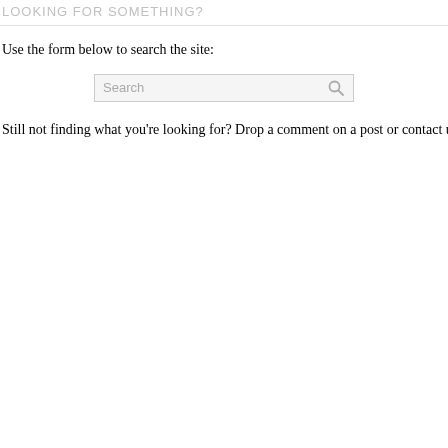LOOKING FOR SOMETHING?
Use the form below to search the site:
[Figure (other): Search input box with placeholder text 'Search' and a magnifying glass icon on the right]
Still not finding what you're looking for? Drop a comment on a post or contact u